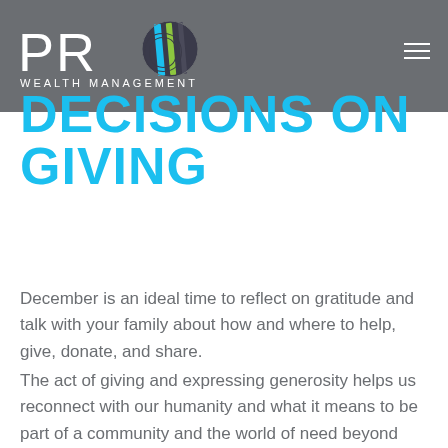[Figure (logo): PRO Wealth Management logo — white PRO text with colorful O graphic (blue, green, dark stripes) and 'WEALTH MANAGEMENT' text below, on a gray header bar]
DECISIONS ON GIVING
December is an ideal time to reflect on gratitude and talk with your family about how and where to help, give, donate, and share.
The act of giving and expressing generosity helps us reconnect with our humanity and what it means to be part of a community and the world of need beyond ourselves. There's no greater feeling than that of